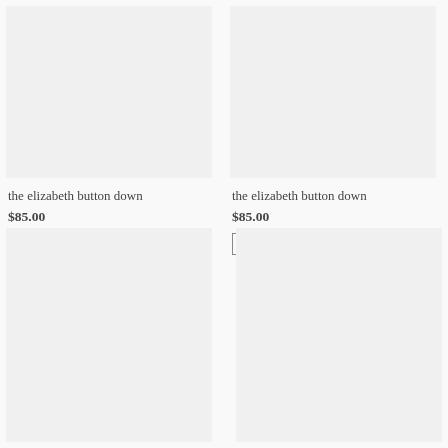[Figure (photo): Product image placeholder for the elizabeth button down (top left)]
the elizabeth button down
$85.00
SOLD OUT
[Figure (photo): Product image placeholder for the elizabeth button down (top right)]
the elizabeth button down
$85.00
SOLD OUT
[Figure (photo): Product image placeholder (bottom left)]
[Figure (photo): Product image placeholder (bottom right)]